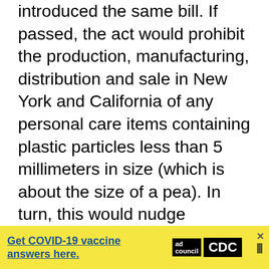introduced the same bill. If passed, the act would prohibit the production, manufacturing, distribution and sale in New York and California of any personal care items containing plastic particles less than 5 millimeters in size (which is about the size of a pea). In turn, this would nudge companies to find alternative ingredients to incorporate into their products. Some companies like Burts Bees and Yes To already use natural exfoliants in their scrubs like jojoba beads, almonds, oats, and bamboo.

In light of this new legislation, Johnson & Johnson, P&G, Unilever, Colgate-Palmolive, and The Body Shop have all announced that they hope to phase microbeads out of their products as early as 2015. I doubt they will be discontinued...
[Figure (infographic): Yellow advertisement banner for COVID-19 vaccine information, with text 'Get COVID-19 vaccine answers here.' in blue underlined font, Ad Council and CDC logos, a close button (x), and a Weather Channel logo partially visible.]